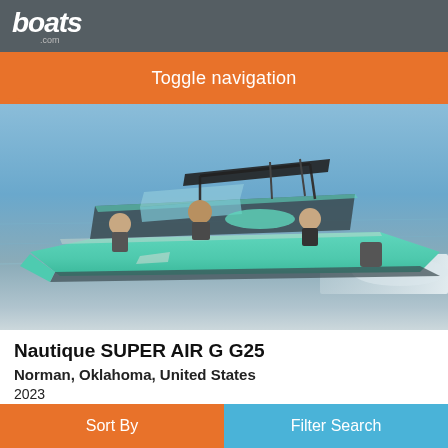boats.com
Toggle navigation
[Figure (photo): A teal/mint colored Nautique Super Air G G25 wake boat speeding on water with passengers aboard, black bimini top raised, blue water background with spray.]
Nautique SUPER AIR G G25
Norman, Oklahoma, United States
2023
Request Price
Sort By   Filter Search